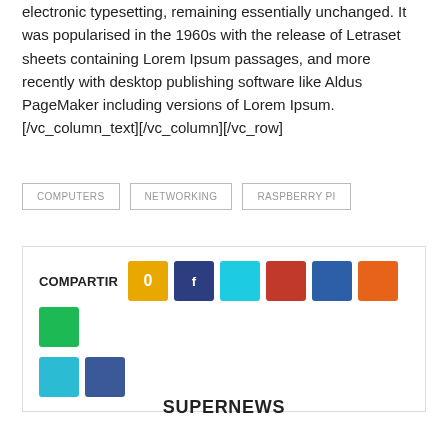electronic typesetting, remaining essentially unchanged. It was popularised in the 1960s with the release of Letraset sheets containing Lorem Ipsum passages, and more recently with desktop publishing software like Aldus PageMaker including versions of Lorem Ipsum. [/vc_column_text][/vc_column][/vc_row]
COMPUTERS
NETWORKING
RASPBERRY PI
COMPARTIR 0
SUPERNEWS